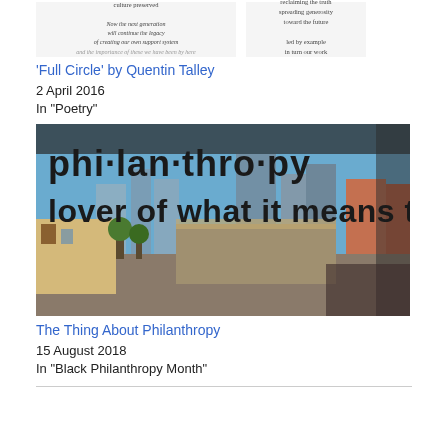[Figure (illustration): Two partial images side by side showing poetic text about tradition, culture, and legacy on left, and reclaiming truth, spreading generosity on right]
'Full Circle' by Quentin Talley
2 April 2016
In "Poetry"
[Figure (photo): Photo of a window with 'phi·lan·thro·py' and 'lover of what it means to be' text overlaid, with urban cityscape visible through the window including buildings and a construction site]
The Thing About Philanthropy
15 August 2018
In "Black Philanthropy Month"